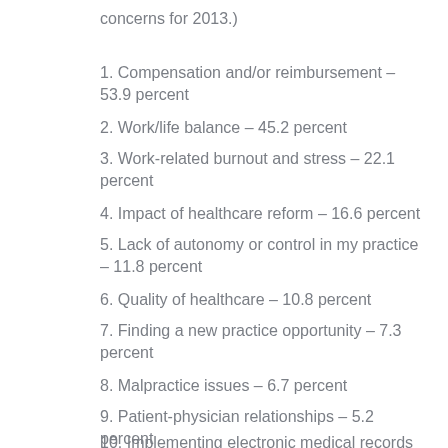concerns for 2013.)
1. Compensation and/or reimbursement – 53.9 percent
2. Work/life balance – 45.2 percent
3. Work-related burnout and stress – 22.1 percent
4. Impact of healthcare reform – 16.6 percent
5. Lack of autonomy or control in my practice – 11.8 percent
6. Quality of healthcare – 10.8 percent
7. Finding a new practice opportunity – 7.3 percent
8. Malpractice issues – 6.7 percent
9. Patient-physician relationships – 5.2 percent
10. Implementing electronic medical records – 5 percent